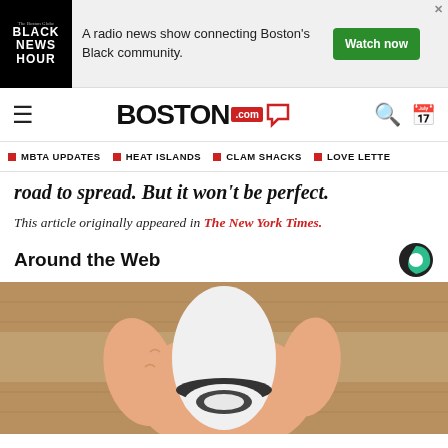[Figure (infographic): Advertisement banner for Black News Hour radio show: 'A radio news show connecting Boston's Black community.' with a Watch now button]
BOSTON.com
MBTA UPDATES | HEAT ISLANDS | CLAM SHACKS | LOVE LETTE
road to spread. But it won't be perfect.
This article originally appeared in The New York Times.
Around the Web
[Figure (photo): A hand holding a white electronic device (appears to be a smart home device or camera) against a wooden background]